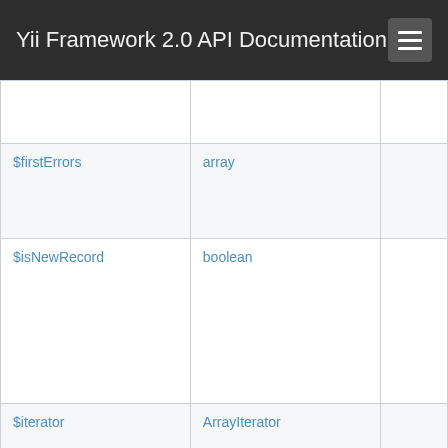Yii Framework 2.0 API Documentation
| Property | Type | Description |
| --- | --- | --- |
|  |  |  |
| $firstErrors | array |  |
| $isNewRecord | boolean |  |
| $iterator | ArrayIterator |  |
| $modulesChainBehavior |  |  |
| $oldAttributes | array |  |